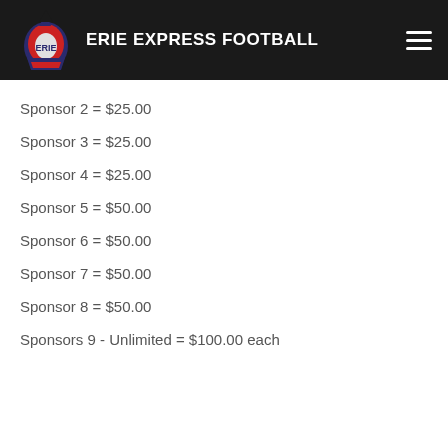ERIE EXPRESS FOOTBALL
Sponsor 2 = $25.00
Sponsor 3 = $25.00
Sponsor 4 = $25.00
Sponsor 5 = $50.00
Sponsor 6 = $50.00
Sponsor 7 = $50.00
Sponsor 8 = $50.00
Sponsors 9 - Unlimited = $100.00 each